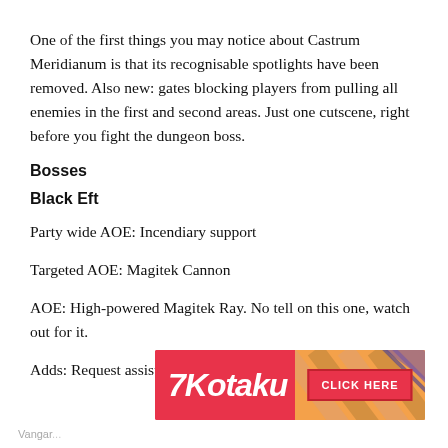One of the first things you may notice about Castrum Meridianum is that its recognisable spotlights have been removed. Also new: gates blocking players from pulling all enemies in the first and second areas. Just one cutscene, right before you fight the dungeon boss.
Bosses
Black Eft
Party wide AOE: Incendiary support
Targeted AOE: Magitek Cannon
AOE: High-powered Magitek Ray. No tell on this one, watch out for it.
Adds: Request assistance
[Figure (advertisement): Kotaku advertisement banner with logo on the left and CLICK HERE button on the right with diagonal stripe pattern]
Vangar...